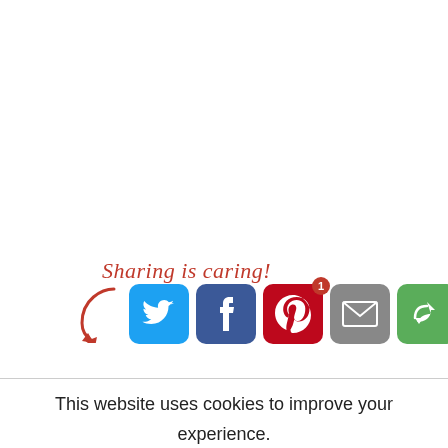[Figure (infographic): Sharing is caring social media share buttons row: Twitter (blue), Facebook (dark blue), Pinterest (red, with badge '1'), Email (gray), and a green circular share button. Above the buttons is a cursive red label 'Sharing is caring!' with a red arrow pointing to the buttons.]
This website uses cookies to improve your experience. We'll assume you're ok with this, but you can opt-out if